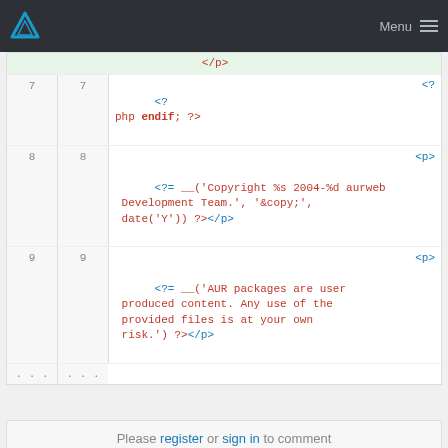Menu
[Figure (screenshot): Code viewer showing PHP template code with line numbers. Line 7 shows <?php endif; ?>, line 8 shows <?= __('Copyright %s 2004-%d aurweb Development Team.', '&copy;', date('Y')) ?></p>, line 9 shows <?= __('AUR packages are user produced content. Any use of the provided files is at your own risk.') ?></p>]
Please register or sign in to comment